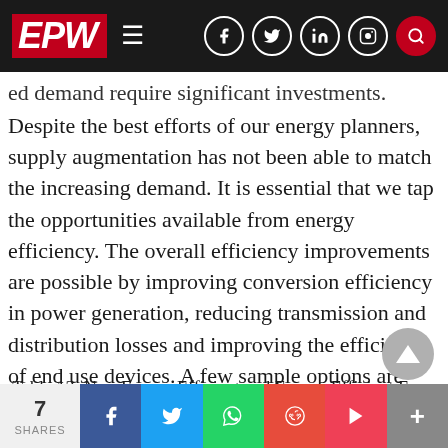EPW [navigation bar with social icons]
ed demand require significant investments. Despite the best efforts of our energy planners, supply augmentation has not been able to match the increasing demand. It is essential that we tap the opportunities available from energy efficiency. The overall efficiency improvements are possible by improving conversion efficiency in power generation, reducing transmission and distribution losses and improving the efficiency of end use devices. A few sample options are illustrated as possible energy efficiency options to be adopted by Maharashtra.
Table 13: Non-Energy Efficient and Energy Efficient E
7 SHARES | Facebook | Twitter | WhatsApp | Reddit | Pocket | More